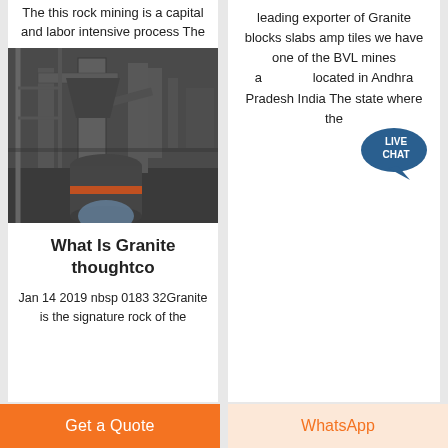The this rock mining is a capital and labor intensive process The
[Figure (photo): Industrial mining/processing machinery with large metal pipes, ducts, and cylindrical equipment in a factory or mining facility setting]
What Is Granite thoughtco
Jan 14 2019 nbsp 0183 32Granite is the signature rock of the
leading exporter of Granite blocks slabs amp tiles we have one of the BVL mines are located in Andhra Pradesh India The state where the
[Figure (illustration): Live Chat speech bubble icon in teal/dark blue color with text LIVE CHAT]
Get a Quote
WhatsApp